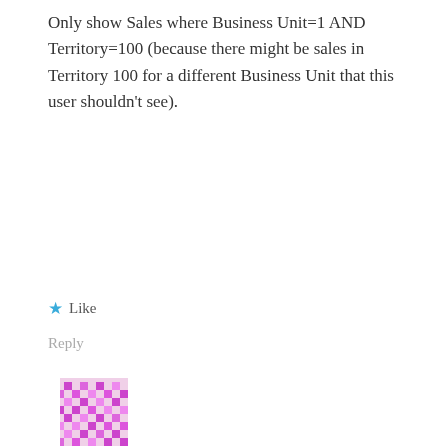Only show Sales where Business Unit=1 AND Territory=100 (because there might be sales in Territory 100 for a different Business Unit that this user shouldn't see).
★ Like
Reply
[Figure (illustration): Pink/magenta pixelated avatar icon]
Jason · March 29, 2017
You can ignore the second question. I figured it out. You can create a table with all of the RLS data in it and just make a single security Role on your Dataset that checks against every field that you want to have